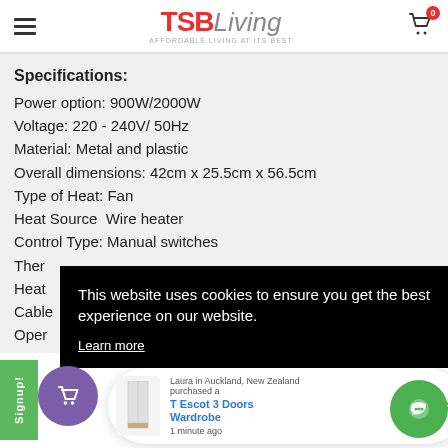TSBLiving — AFFORDABLE LIVING AT ITS BEST
Specifications:
Power option: 900W/2000W
Voltage: 220 - 240V/ 50Hz
Material: Metal and plastic
Overall dimensions: 42cm x 25.5cm x 56.5cm
Type of Heat: Fan
Heat Source  Wire heater
Control Type: Manual switches
Thermostat: [partially obscured]
Heat [partially obscured]
Cable [partially obscured]
Operating [partially obscured]
This website uses cookies to ensure you get the best experience on our website. Learn more
Laura in Auckland, New Zealand purchased a T Escot 3 Doors Wardrobe 1 minute ago